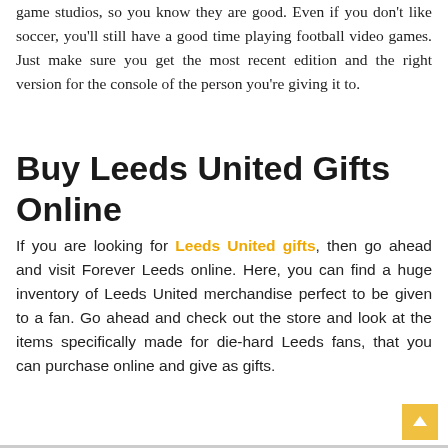game studios, so you know they are good. Even if you don't like soccer, you'll still have a good time playing football video games. Just make sure you get the most recent edition and the right version for the console of the person you're giving it to.
Buy Leeds United Gifts Online
If you are looking for Leeds United gifts, then go ahead and visit Forever Leeds online. Here, you can find a huge inventory of Leeds United merchandise perfect to be given to a fan. Go ahead and check out the store and look at the items specifically made for die-hard Leeds fans, that you can purchase online and give as gifts.